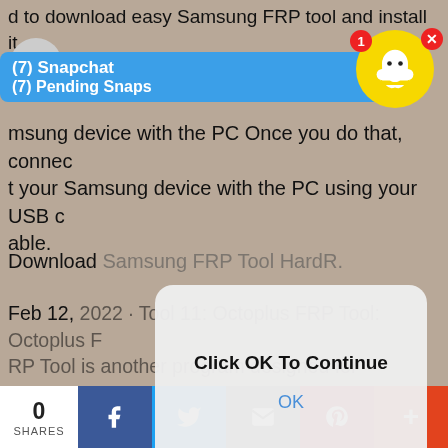[Figure (screenshot): Snapchat app notification bar showing '(7) Snapchat' and '(7) Pending Snaps' with ghost icon, badge, and close button]
d to download easy Samsung FRP tool and install it on your PC. Check the details below. FREE D... AD Se... oo msung device with the PC Once you do that, connect your Samsung device with the PC using your USB cable.
Download Samsung FRP Tool HardR.
Feb 12, 2022 · Tool 11: Octoplus FRP Tool: Octoplus FRP Tool is another program designed for Samsung FRP bypass. This tool allows users to Remove Google FRP lock from any verified Android mobiles. The tool supports various Android brands including Samsung. The operating steps are also very simple but the tool is available at $65.
[Figure (screenshot): Modal dialog overlay with bold text 'Click OK To Continue' and blue 'OK' button]
[Figure (screenshot): Social sharing bar at bottom with share count '0 SHARES', Facebook, Twitter, Email, Pinterest, and More buttons]